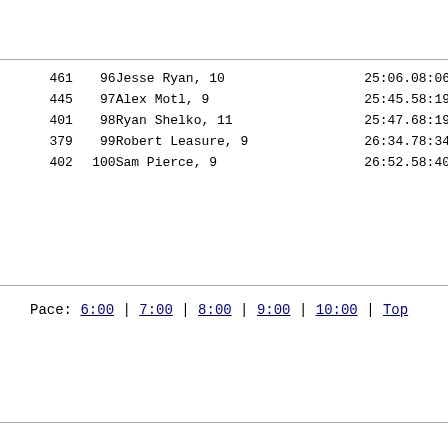| Num | Place | Name | Time | Pace |
| --- | --- | --- | --- | --- |
| 461 | 96 | Jesse Ryan, 10 | 25:06.0 | 8:06 |
| 445 | 97 | Alex Motl, 9 | 25:45.5 | 8:19 |
| 401 | 98 | Ryan Shelko, 11 | 25:47.6 | 8:19 |
| 379 | 99 | Robert Leasure, 9 | 26:34.7 | 8:34 |
| 402 | 100 | Sam Pierce, 9 | 26:52.5 | 8:40 |
Pace: 6:00 | 7:00 | 8:00 | 9:00 | 10:00 | Top